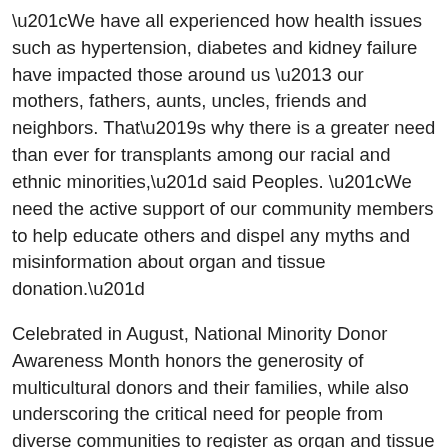“We have all experienced how health issues such as hypertension, diabetes and kidney failure have impacted those around us – our mothers, fathers, aunts, uncles, friends and neighbors. That’s why there is a greater need than ever for transplants among our racial and ethnic minorities,” said Peoples. “We need the active support of our community members to help educate others and dispel any myths and misinformation about organ and tissue donation.”
Celebrated in August, National Minority Donor Awareness Month honors the generosity of multicultural donors and their families, while also underscoring the critical need for people from diverse communities to register as organ and tissue donors. NJ Sharing Network leads these local outreach efforts throughout the year with its #DonationNeedsDiversity campaign, an initiative to empower multicultural communities to become more involved in saving and healing lives through organ and